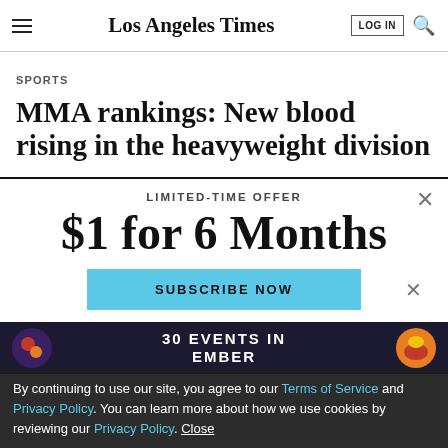Los Angeles Times
SPORTS
MMA rankings: New blood rising in the heavyweight division
LIMITED-TIME OFFER
$1 for 6 Months
SUBSCRIBE NOW
By continuing to use our site, you agree to our Terms of Service and Privacy Policy. You can learn more about how we use cookies by reviewing our Privacy Policy. Close